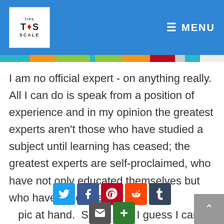Tips on the Scale — MENU
I am no official expert - on anything really.  All I can do is speak from a position of experience and in my opinion the greatest experts aren't those who have studied a subject until learning has ceased; the greatest experts are self-proclaimed, who have not only educated themselves but who have lived, breathed and become the topic at hand.  So for this, I guess I can say, I am a self-proclaimed expert.  Today we discover the